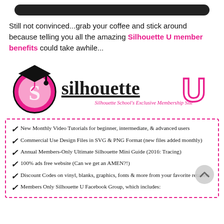[Figure (other): Dark rounded rectangle bar at top of page]
Still not convinced...grab your coffee and stick around because telling you all the amazing Silhouette U member benefits could take awhile...
[Figure (logo): Silhouette U logo — pink circle with S letter, graduation cap, text 'silhouette U' and tagline 'Silhouette School's Exclusive Membership Site']
New Monthly Video Tutorials for beginner, intermediate, & advanced users
Commercial Use Design Files in SVG & PNG Format (new files added monthly)
Annual Members-Only Ultimate Silhouette Mini Guide (2016: Tracing)
100% ads free website (Can we get an AMEN?!)
Discount Codes on vinyl, blanks, graphics, fonts & more from your favorite retailers
Members Only Silhouette U Facebook Group, which includes: